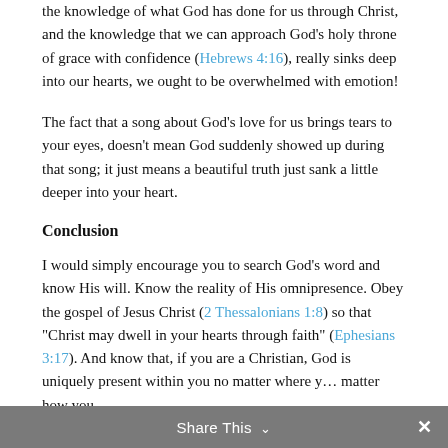the knowledge of what God has done for us through Christ, and the knowledge that we can approach God’s holy throne of grace with confidence (Hebrews 4:16), really sinks deep into our hearts, we ought to be overwhelmed with emotion!
The fact that a song about God’s love for us brings tears to your eyes, doesn’t mean God suddenly showed up during that song; it just means a beautiful truth just sank a little deeper into your heart.
Conclusion
I would simply encourage you to search God’s word and know His will. Know the reality of His omnipresence. Obey the gospel of Jesus Christ (2 Thessalonians 1:8) so that “Christ may dwell in your hearts through faith” (Ephesians 3:17). And know that, if you are a Christian, God is uniquely present within you no matter where y… matter how you
Share This